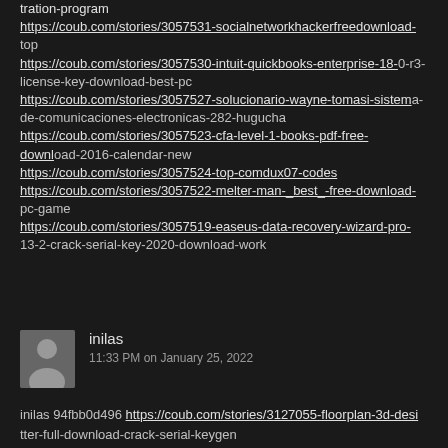tration-program
https://coub.com/stories/3057531-socialnetworkhackerfreedownload-top
https://coub.com/stories/3057530-intuit-quickbooks-enterprise-18-0-r3-license-key-download-best-pc
https://coub.com/stories/3057527-solucionario-wayne-tomasi-sistema-de-comunicaciones-electronicas-282-hugucha
https://coub.com/stories/3057523-cfa-level-1-books-pdf-free-download-2016-calendar-new
https://coub.com/stories/3057524-top-comdux07-codes
https://coub.com/stories/3057522-melter-man-_best_-free-download-pc-game
https://coub.com/stories/3057519-easeus-data-recovery-wizard-pro-13-2-crack-serial-key-2020-download-work
[Figure (illustration): Default user avatar - silhouette of a person on gray background]
inilas
11:33 PM on January 25, 2022
inilas 94fbb0d496 https://coub.com/stories/3127055-floorplan-3d-desi tter-full-download-crack-serial-keygen
https://coub.com/stories/3127053-sony-digital-8-driver-_top_-download